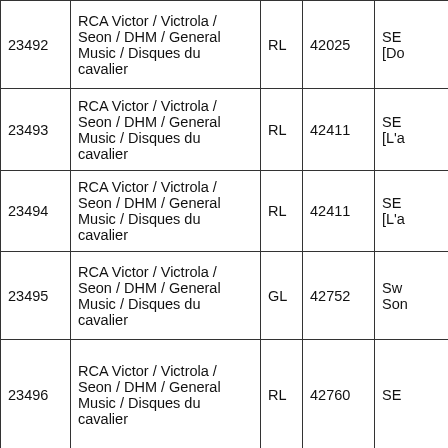| 23492 | RCA Victor / Victrola / Seon / DHM / General Music / Disques du cavalier | RL | 42025 | SE[Do |
| 23493 | RCA Victor / Victrola / Seon / DHM / General Music / Disques du cavalier | RL | 42411 | SE[L'a |
| 23494 | RCA Victor / Victrola / Seon / DHM / General Music / Disques du cavalier | RL | 42411 | SE[L'a |
| 23495 | RCA Victor / Victrola / Seon / DHM / General Music / Disques du cavalier | GL | 42752 | SwSon |
| 23496 | RCA Victor / Victrola / Seon / DHM / General Music / Disques du cavalier | RL | 42760 | SE |